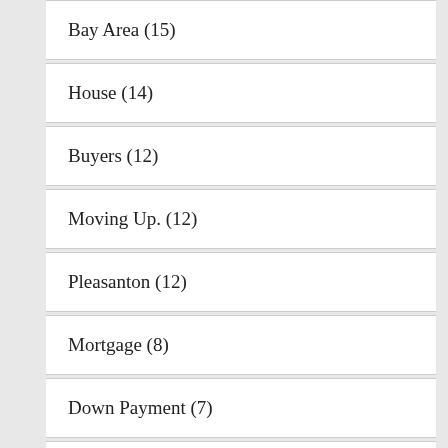Bay Area (15)
House (14)
Buyers (12)
Moving Up. (12)
Pleasanton (12)
Mortgage (8)
Down Payment (7)
Mortgage Insurance (6)